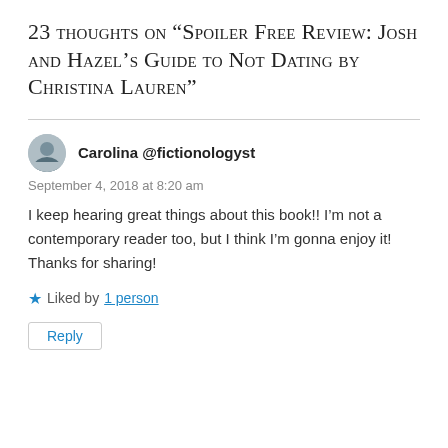23 thoughts on “Spoiler Free Review: Josh and Hazel’s Guide to Not Dating by Christina Lauren”
Carolina @fictionologyst
September 4, 2018 at 8:20 am
I keep hearing great things about this book!! I’m not a contemporary reader too, but I think I’m gonna enjoy it! Thanks for sharing!
★ Liked by 1 person
Reply